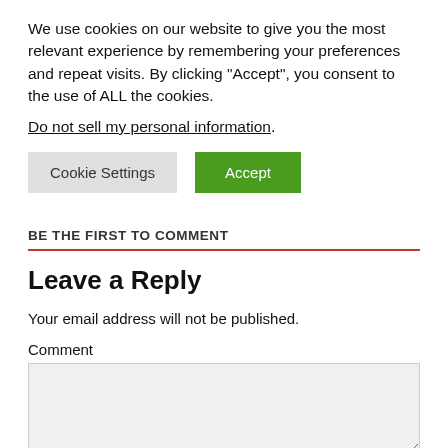We use cookies on our website to give you the most relevant experience by remembering your preferences and repeat visits. By clicking “Accept”, you consent to the use of ALL the cookies.
Do not sell my personal information.
Cookie Settings   Accept
BE THE FIRST TO COMMENT
Leave a Reply
Your email address will not be published.
Comment